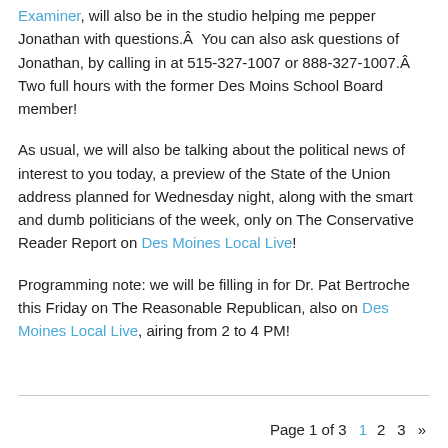Examiner, will also be in the studio helping me pepper Jonathan with questions.Â  You can also ask questions of Jonathan, by calling in at 515-327-1007 or 888-327-1007.Â  Two full hours with the former Des Moins School Board member!
As usual, we will also be talking about the political news of interest to you today, a preview of the State of the Union address planned for Wednesday night, along with the smart and dumb politicians of the week, only on The Conservative Reader Report on Des Moines Local Live!
Programming note: we will be filling in for Dr. Pat Bertroche this Friday on The Reasonable Republican, also on Des Moines Local Live, airing from 2 to 4 PM!
Page 1 of 3  1  2  3  »